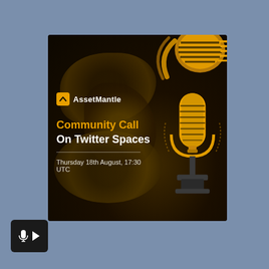[Figure (illustration): AssetMantle Community Call promotional card on a steel-blue background. The card has a dark brown textured background with organic blob shapes, a golden vintage microphone illustration on the right side, and a partial microphone graphic in the top-right corner. The AssetMantle logo (yellow square icon with arrow and white text) appears in the upper-left of the card. Main text reads 'Community Call' in yellow and 'On Twitter Spaces' in white, followed by a thin horizontal divider and 'Thursday 18th August, 17:30 UTC' in small white text. A small dark play button with microphone icon appears at the bottom-left of the page.]